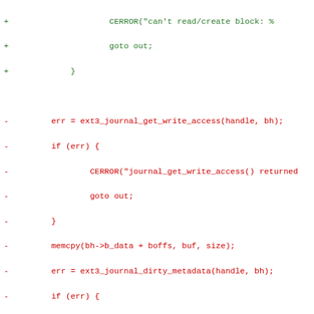[Figure (other): Code diff showing changes to ext3 journal write access and dirty metadata handling in C source code. Red lines are deletions, green lines are additions.]